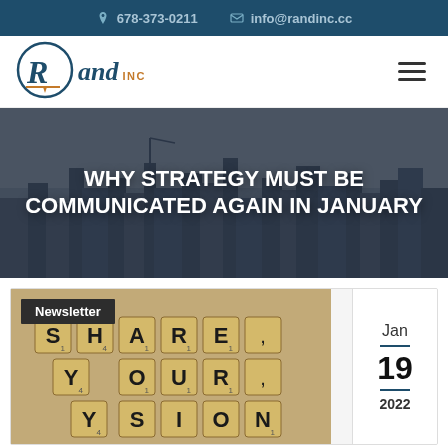678-373-0211  info@randinc.cc
[Figure (logo): Rand INC logo — circle with R and underline, company name]
WHY STRATEGY MUST BE COMMUNICATED AGAIN IN JANUARY
Newsletter
[Figure (photo): Scrabble tiles spelling SHARE YOUR VISION on a wooden surface]
Jan — 19 — 2022